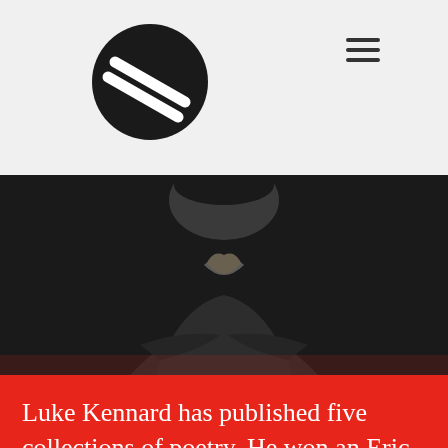[Figure (logo): Circular logo with diagonal white stripes on dark background, representing a publication or organization]
[Figure (photo): Black and white photograph of a man (Luke Kennard) wearing a dark v-neck sweater over a collared shirt, arms crossed, photographed from chest up against a dark background]
Luke Kennard has published five collections of poetry. He won an Eric Gregory Award in 2005 and was shortlisted for the Forward Prize for Best Collection in 2007. He lectures at the